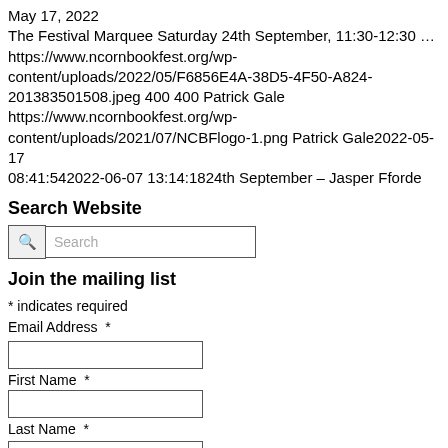May 17, 2022
The Festival Marquee Saturday 24th September, 11:30-12:30 … https://www.ncornbookfest.org/wp-content/uploads/2022/05/F6856E4A-38D5-4F50-A824-201383501508.jpeg 400 400 Patrick Gale https://www.ncornbookfest.org/wp-content/uploads/2021/07/NCBFlogo-1.png Patrick Gale2022-05-17 08:41:542022-06-07 13:14:1824th September – Jasper Fforde
Search Website
Search
Join the mailing list
* indicates required
Email Address  *
First Name  *
Last Name  *